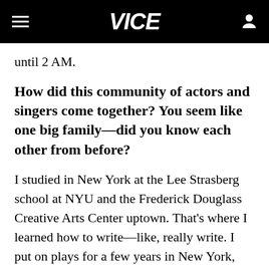VICE
until 2 AM.
How did this community of actors and singers come together? You seem like one big family—did you know each other from before?
I studied in New York at the Lee Strasberg school at NYU and the Frederick Douglass Creative Arts Center uptown. That's where I learned how to write—like, really write. I put on plays for a few years in New York, then I had kids, so I took time off for motherhood. Then I was an acting coach. I found a lot of the actors from this hub through connections. The...